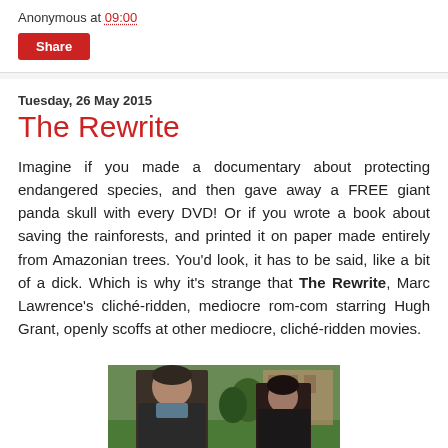Anonymous at 09:00
Share
Tuesday, 26 May 2015
The Rewrite
Imagine if you made a documentary about protecting endangered species, and then gave away a FREE giant panda skull with every DVD! Or if you wrote a book about saving the rainforests, and printed it on paper made entirely from Amazonian trees. You'd look, it has to be said, like a bit of a dick. Which is why it's strange that The Rewrite, Marc Lawrence's cliché-ridden, mediocre rom-com starring Hugh Grant, openly scoffs at other mediocre, cliché-ridden movies.
[Figure (photo): Photo of Hugh Grant with another person in an outdoor campus-like setting with trees and a brick building in the background.]